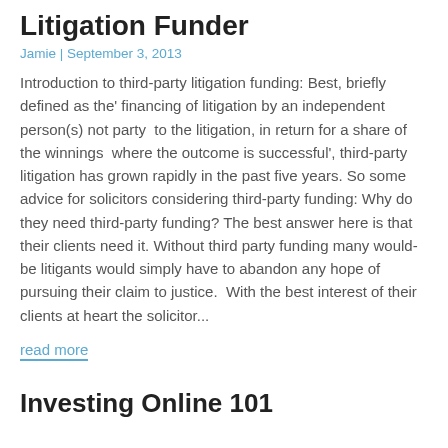Litigation Funder
Jamie | September 3, 2013
Introduction to third-party litigation funding: Best, briefly defined as the' financing of litigation by an independent person(s) not party  to the litigation, in return for a share of the winnings  where the outcome is successful', third-party litigation has grown rapidly in the past five years. So some advice for solicitors considering third-party funding: Why do they need third-party funding? The best answer here is that their clients need it. Without third party funding many would-be litigants would simply have to abandon any hope of pursuing their claim to justice.  With the best interest of their clients at heart the solicitor...
read more
Investing Online 101